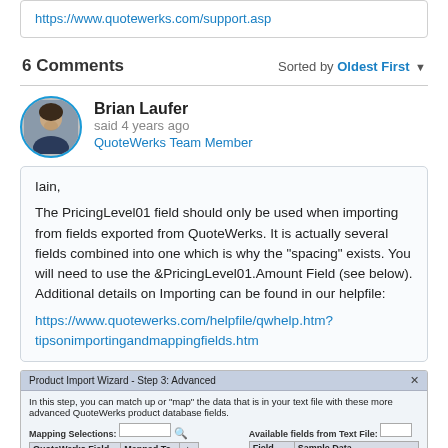https://www.quotewerks.com/support.asp
6 Comments    Sorted by Oldest First
[Figure (photo): Avatar photo of Brian Laufer]
Brian Laufer
said 4 years ago
QuoteWerks Team Member
Iain,

The PricingLevel01 field should only be used when importing from fields exported from QuoteWerks. It is actually several fields combined into one which is why the "spacing" exists. You will need to use the &PricingLevel01.Amount Field (see below). Additional details on Importing can be found in our helpfile:
https://www.quotewerks.com/helpfile/qwhelp.htm?tipsonimportingandmappingfields.htm
[Figure (screenshot): Product Import Wizard - Step 3: Advanced dialog showing mapping selections and available fields from text file]